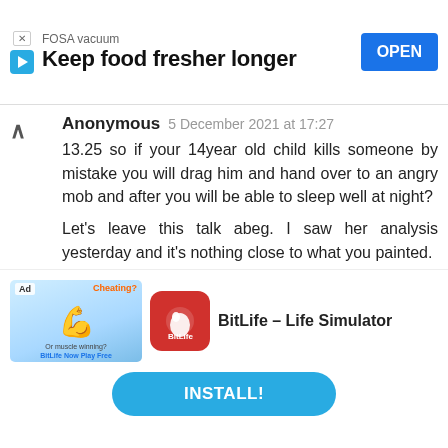[Figure (screenshot): Ad banner: FOSA vacuum - Keep food fresher longer, with OPEN button]
Anonymous 5 December 2021 at 17:27
13.25 so if your 14year old child kills someone by mistake you will drag him and hand over to an angry mob and after you will be able to sleep well at night?

Let's leave this talk abeg. I saw her analysis yesterday and it's nothing close to what you painted.
Flawless 5 December 2021 at 18:13
Yesterday I tried putting myself in the shoes of
[Figure (screenshot): Bottom ad: BitLife - Life Simulator app advertisement with INSTALL button]